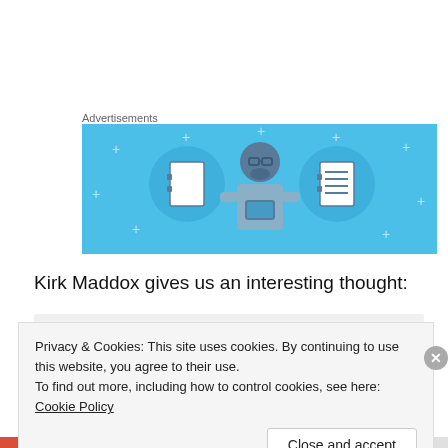Advertisements
[Figure (illustration): Advertisement banner with light blue background showing a cartoon person holding a phone, flanked by two circular icons depicting notebooks/notepads]
Kirk Maddox gives us an interesting thought:
Privacy & Cookies: This site uses cookies. By continuing to use this website, you agree to their use.
To find out more, including how to control cookies, see here: Cookie Policy
Close and accept